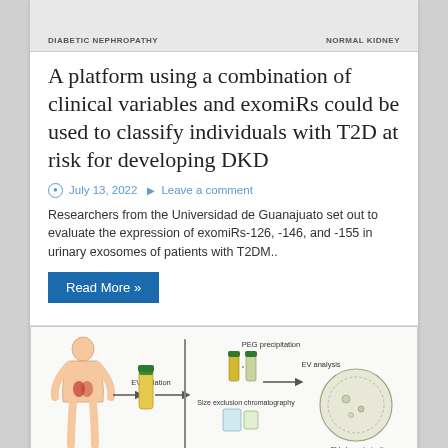[Figure (illustration): Top strip showing illustration labels: DIABETIC NEPHROPATHY on left, NORMAL KIDNEY on right, with partial kidney diagram image]
A platform using a combination of clinical variables and exomiRs could be used to classify individuals with T2D at risk for developing DKD
July 13, 2022   Leave a comment
Researchers from the Universidad de Guanajuato set out to evaluate the expression of exomiRs-126, -146, and -155 in urinary exosomes of patients with T2DM..
Read More »
[Figure (schematic): Scientific diagram showing workflow: Samping → EV isolation → PEG precipitation / Size exclusion chromatography → EV analysis → EV characterisation. Includes human body silhouette, test tubes, and circular vesicle illustration.]